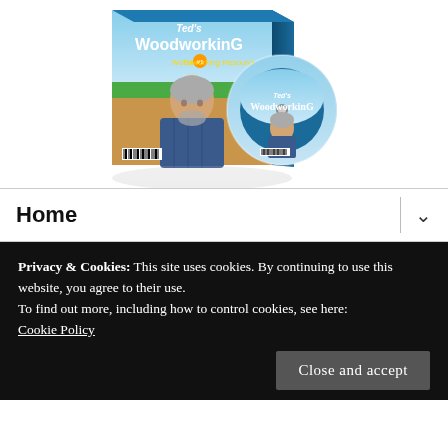[Figure (illustration): Ted's Woodworking product box and DVD. Box shows a man with arms crossed, blue/green color scheme, text 'Ted's WoodworkinG The #1 Woodworking Resource'. A CD/DVD sits beside the box with the same branding.]
Home
Privacy & Cookies: This site uses cookies. By continuing to use this website, you agree to their use.
To find out more, including how to control cookies, see here:
Cookie Policy
Close and accept